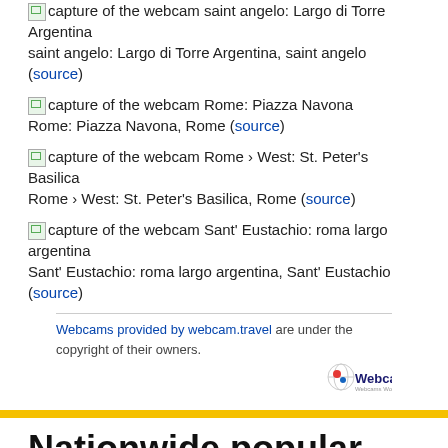capture of the webcam saint angelo: Largo di Torre Argentina saint angelo: Largo di Torre Argentina, saint angelo (source)
capture of the webcam Rome: Piazza Navona Rome: Piazza Navona, Rome (source)
capture of the webcam Rome › West: St. Peter's Basilica Rome › West: St. Peter's Basilica, Rome (source)
capture of the webcam Sant' Eustachio: roma largo argentina Sant' Eustachio: roma largo argentina, Sant' Eustachio (source)
Webcams provided by webcam.travel are under the copyright of their owners.
[Figure (logo): Webcams.travel logo with globe icon]
Nationwide popular locations
These are the most popular locations in Italy on Tripmondo.
Rome
Lucca